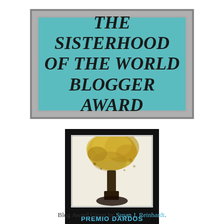[Figure (illustration): The Sisterhood of the World Blogger Award banner — teal/turquoise rectangle with gray border containing bold italic text reading THE SISTERHOOD OF THE WORLD BLOGGER AWARD]
[Figure (illustration): Premio Dardos award image — black background with white-bordered inner frame showing an artistic illustration of a tree or plant with golden/yellow foliage and dark trunk, with PREMIO DARDOS text in teal at bottom]
Blog Award Given by Susan J. Reinhardt.